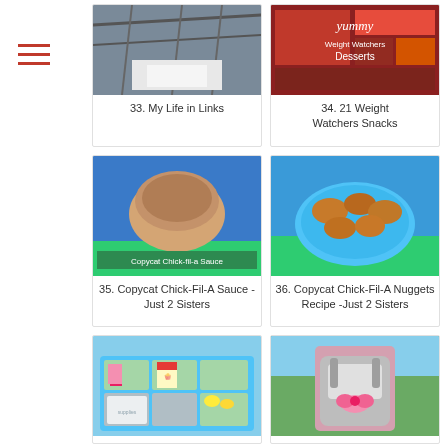[Figure (photo): Hamburger/menu icon with three red horizontal lines]
[Figure (photo): Photo of construction ceiling/rafters]
33. My Life in Links
[Figure (photo): Collage of Weight Watchers desserts with text overlay]
34. 21 Weight Watchers Snacks
[Figure (photo): Copycat Chick-fil-a Sauce in a bowl on chevron fabric]
35. Copycat Chick-Fil-A Sauce - Just 2 Sisters
[Figure (photo): Copycat Chick-fil-A nuggets on blue chevron plate]
36. Copycat Chick-Fil-A Nuggets Recipe -Just 2 Sisters
[Figure (photo): Organized bins with snacks and supplies in blue tray]
[Figure (photo): Girl wearing grey and pink backpack]